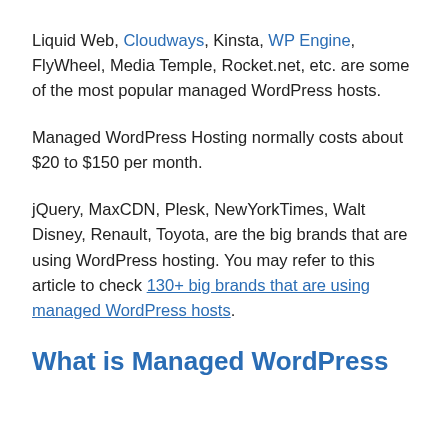Liquid Web, Cloudways, Kinsta, WP Engine, FlyWheel, Media Temple, Rocket.net, etc. are some of the most popular managed WordPress hosts.
Managed WordPress Hosting normally costs about $20 to $150 per month.
jQuery, MaxCDN, Plesk, NewYorkTimes, Walt Disney, Renault, Toyota, are the big brands that are using WordPress hosting. You may refer to this article to check 130+ big brands that are using managed WordPress hosts.
What is Managed WordPress